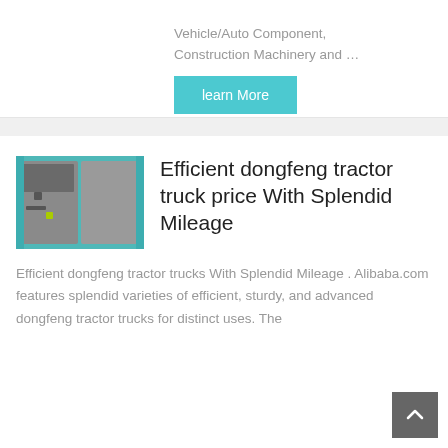Vehicle/Auto Component, Construction Machinery and …
learn More
[Figure (photo): Photo of a tractor truck interior/door panel in teal/grey color]
Efficient dongfeng tractor truck price With Splendid Mileage
Efficient dongfeng tractor trucks With Splendid Mileage . Alibaba.com features splendid varieties of efficient, sturdy, and advanced dongfeng tractor trucks for distinct uses. The